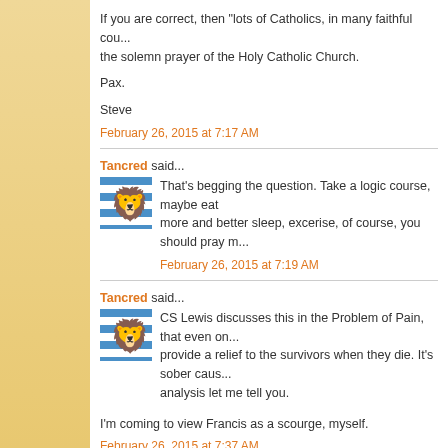If you are correct, then "lots of Catholics, in many faithful cou... the solemn prayer of the Holy Catholic Church.
Pax.
Steve
February 26, 2015 at 7:17 AM
Tancred said...
That's begging the question. Take a logic course, maybe eat more and better sleep, excerise, of course, you should pray m...
February 26, 2015 at 7:19 AM
Tancred said...
CS Lewis discusses this in the Problem of Pain, that even on... provide a relief to the survivors when they die. It's sober caus... analysis let me tell you.
I'm coming to view Francis as a scourge, myself.
February 26, 2015 at 7:37 AM